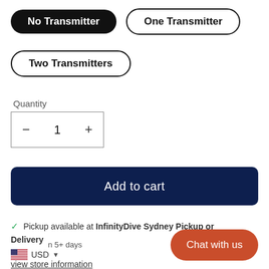No Transmitter
One Transmitter
Two Transmitters
Quantity
— 1 +
Add to cart
✓ Pickup available at InfinityDive Sydney Pickup or Delivery
n 5+ days
USD
view store information
Chat with us